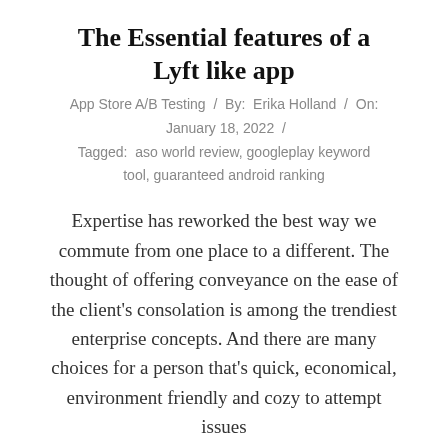The Essential features of a Lyft like app
App Store A/B Testing  /  By:  Erika Holland  /  On:  January 18, 2022  /  Tagged:  aso world review, googleplay keyword tool, guaranteed android ranking
Expertise has reworked the best way we commute from one place to a different. The thought of offering conveyance on the ease of the client’s consolation is among the trendiest enterprise concepts. And there are many choices for a person that’s quick, economical, environment friendly and cozy to attempt issues
CONTINUE READING